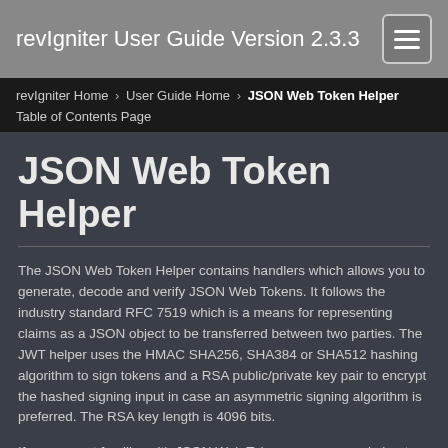revIgniter User Guide Version 2.3.3
revIgniter Home › User Guide Home › JSON Web Token Helper
Table of Contents Page
JSON Web Token Helper
The JSON Web Token Helper contains handlers which allows you to generate, decode and verify JSON Web Tokens. It follows the industry standard RFC 7519 which is a means for representing claims as a JSON object to be transferred between two parties. The JWT helper uses the HMAC SHA256, SHA384 or SHA512 hashing algorithm to sign tokens and a RSA public/private key pair to encrypt the hashed signing input in case an asymmetric signing algorithm is preferred. The RSA key length is 4096 bits.
If you are not familiar with JSON Web Tokens you can read about the concept at https://jwt.io.